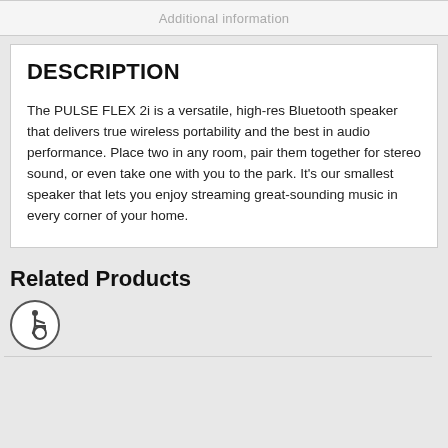Additional information
DESCRIPTION
The PULSE FLEX 2i is a versatile, high-res Bluetooth speaker that delivers true wireless portability and the best in audio performance. Place two in any room, pair them together for stereo sound, or even take one with you to the park. It’s our smallest speaker that lets you enjoy streaming great-sounding music in every corner of your home.
Related Products
[Figure (illustration): Accessibility icon — wheelchair user symbol inside a circle]